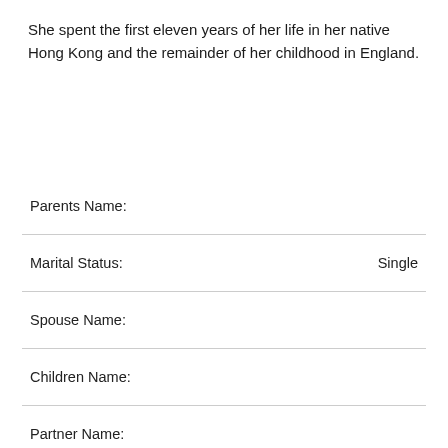She spent the first eleven years of her life in her native Hong Kong and the remainder of her childhood in England.
| Field | Value |
| --- | --- |
| Parents Name: |  |
| Marital Status: | Single |
| Spouse Name: |  |
| Children Name: |  |
| Partner Name: |  |
| Relative Name: |  |
| No. of Children: |  |